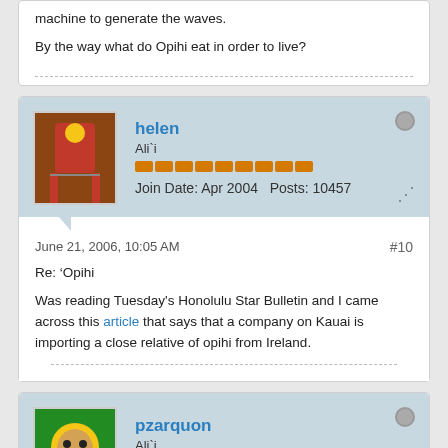machine to generate the waves.
By the way what do Opihi eat in order to live?
helen
Ali`i
Join Date: Apr 2004   Posts: 10457
June 21, 2006, 10:05 AM   #10
Re: ‘Opihi
Was reading Tuesday's Honolulu Star Bulletin and I came across this article that says that a company on Kauai is importing a close relative of opihi from Ireland.
pzarquon
Ali`i
Join Date: Apr 2004   Posts: 7333